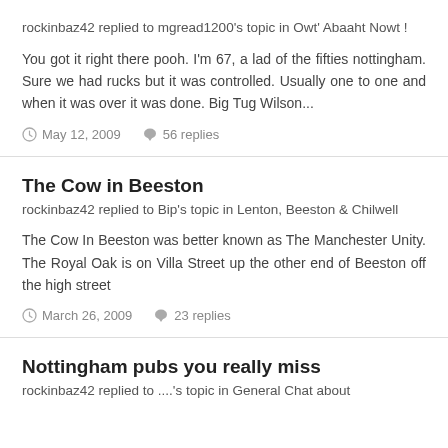rockinbaz42 replied to mgread1200's topic in Owt' Abaaht Nowt !
You got it right there pooh. I'm 67, a lad of the fifties nottingham. Sure we had rucks but it was controlled. Usually one to one and when it was over it was done. Big Tug Wilson...
May 12, 2009   56 replies
The Cow in Beeston
rockinbaz42 replied to Bip's topic in Lenton, Beeston & Chilwell
The Cow In Beeston was better known as The Manchester Unity. The Royal Oak is on Villa Street up the other end of Beeston off the high street
March 26, 2009   23 replies
Nottingham pubs you really miss
rockinbaz42 replied to ....'s topic in General Chat about